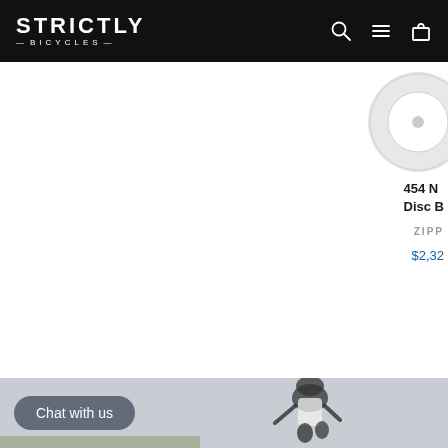STRICTLY —BICYCLES—
[Figure (photo): Partially visible circular product thumbnail for a wheel/disc brake product]
454 N Disc B
ZIPP
$2,32
[Figure (photo): A cyclist wearing a helmet and sunglasses, leaning forward on a road bike, against a grey sky background]
Chat with us